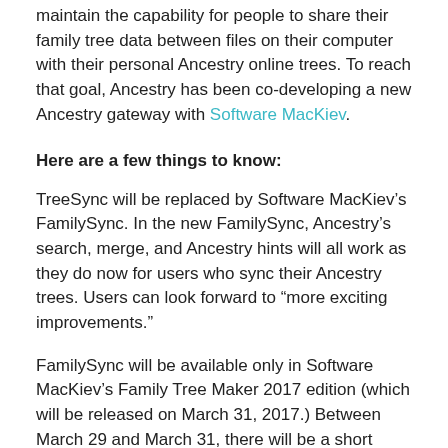maintain the capability for people to share their family tree data between files on their computer with their personal Ancestry online trees. To reach that goal, Ancestry has been co-developing a new Ancestry gateway with Software MacKiev.
Here are a few things to know:
TreeSync will be replaced by Software MacKiev's FamilySync. In the new FamilySync, Ancestry's search, merge, and Ancestry hints will all work as they do now for users who sync their Ancestry trees. Users can look forward to “more exciting improvements.”
FamilySync will be available only in Software MacKiev's Family Tree Maker 2017 edition (which will be released on March 31, 2017.) Between March 29 and March 31, there will be a short period where syncing functionality might be interrupted as Software MacKiev rolls out their new syncing technology. Things should return to full functionality after March 31.